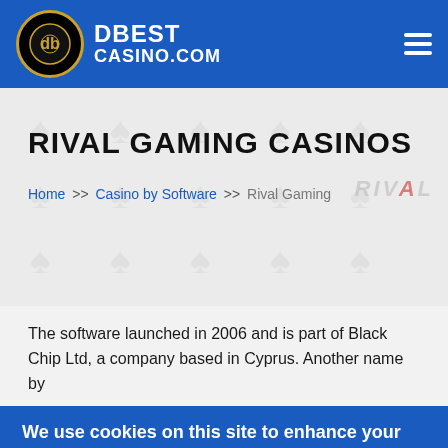DBEST CASINO.COM
RIVAL GAMING CASINOS
Home >> Casino by Software >> Rival Gaming
The software launched in 2006 and is part of Black Chip Ltd, a company based in Cyprus. Another name by
We use cookies on this site to enhance your user experience
By clicking the Accept button, you agree to us doing so.
Accept